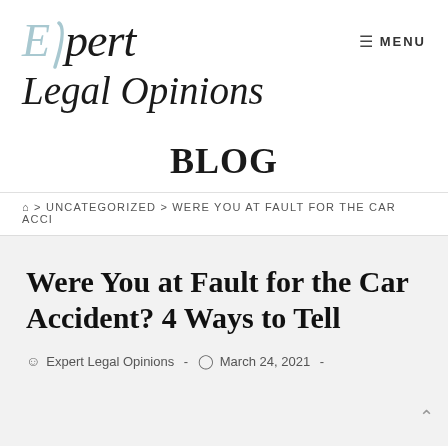[Figure (logo): Expert Legal Opinions logo with italic serif font and light blue diagonal accent stroke]
≡ MENU
BLOG
⌂ > UNCATEGORIZED > WERE YOU AT FAULT FOR THE CAR ACCI
Were You at Fault for the Car Accident? 4 Ways to Tell
Expert Legal Opinions  -  March 24, 2021  -